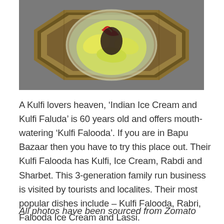[Figure (photo): Top-down view of a Kulfi Falooda dessert served in a clear bowl on a decorative octagonal golden plate/tray, with yellow and red garnishes visible, placed on a grey surface.]
A Kulfi lovers heaven, ‘Indian Ice Cream and Kulfi Faluda’ is 60 years old and offers mouth-watering ‘Kulfi Falooda’. If you are in Bapu Bazaar then you have to try this place out. Their Kulfi Falooda has Kulfi, Ice Cream, Rabdi and Sharbet. This 3-generation family run business is visited by tourists and localites. Their most popular dishes include – Kulfi Falooda, Rabri, Falooda Ice Cream and Lassi.
All photos have been sourced from Zomato